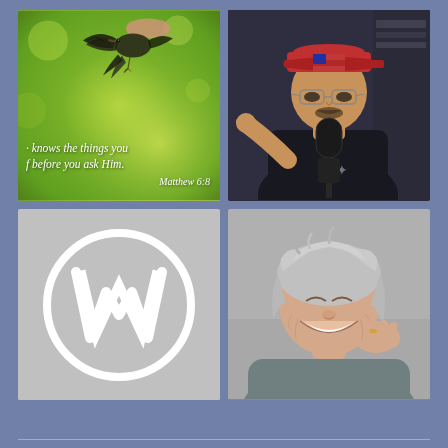[Figure (photo): Top-left: bird in flight over green background with Bible verse text overlay reading '· knows the things you f before you ask Him. Matthew 6:8']
[Figure (photo): Top-right: man wearing red American flag cap and glasses speaking into a microphone, wearing black t-shirt with Texas state outline, pointing at camera]
[Figure (logo): Bottom-left: WordPress logo - white W in circle on gray background]
[Figure (photo): Bottom-right: older woman with silver-gray hair smiling broadly, hand raised to her cheek, wearing gray top]